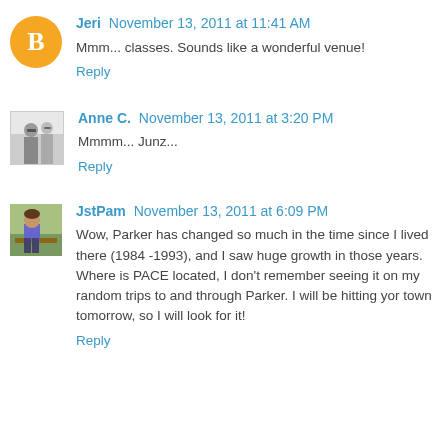Jeri  November 13, 2011 at 11:41 AM
Mmm... classes. Sounds like a wonderful venue!
Reply
Anne C.  November 13, 2011 at 3:20 PM
Mmmm... Junz...
Reply
JstPam  November 13, 2011 at 6:09 PM
Wow, Parker has changed so much in the time since I lived there (1984 -1993), and I saw huge growth in those years. Where is PACE located, I don't remember seeing it on my random trips to and through Parker. I will be hitting yor town tomorrow, so I will look for it!
Reply